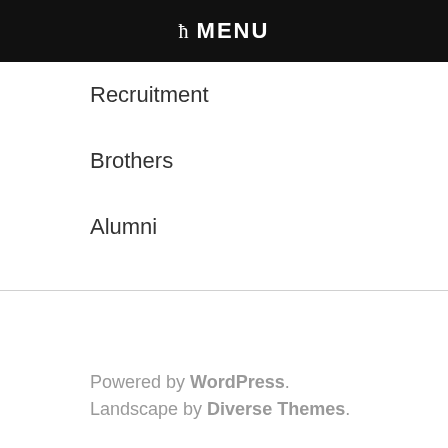ħ MENU
Recruitment
Brothers
Alumni
Powered by WordPress. Landscape by Diverse Themes.